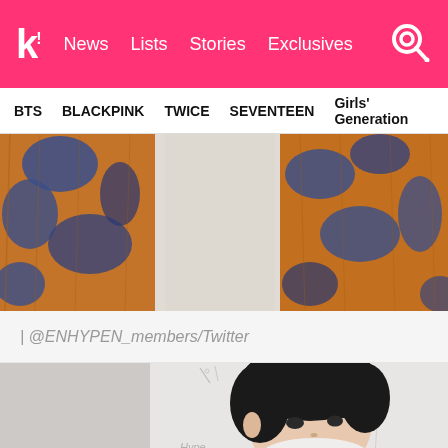k! News Lists Stories Exclusives
BTS BLACKPINK TWICE SEVENTEEN Girls' Generation
[Figure (photo): Close-up of a brown and blue fuzzy/mohair cardigan or jacket, cropped showing only the clothing]
| @ENHYPEN_members/Twitter
[Figure (photo): Young man with dark black hair taking a selfie, with sketched/drawn background visible behind him]